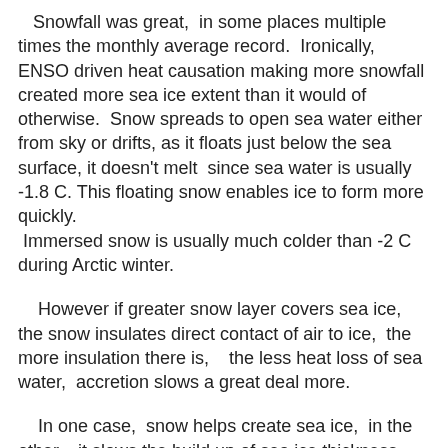Snowfall was great,  in some places multiple times the monthly average record.  Ironically,  ENSO driven heat causation making more snowfall  created more sea ice extent than it would of otherwise.  Snow spreads to open sea water either from sky or drifts, as it floats just below the sea surface, it doesn't melt  since sea water is usually -1.8 C.  This floating snow enables ice to form more quickly.  Immersed snow is usually much colder than -2 C during Arctic winter.
However if greater snow layer covers sea ice,  the snow insulates direct contact of air to ice,  the more insulation there is,   the less heat loss of sea water,  accretion slows a great deal more.
In one case,  snow helps create sea ice,  in the other,   it slows the build up of sea ice thickness.
Complexities continue especially in the spring time when the sun reappears after the long night. After long night less ice fabrication because of greater snow insulation,  the opposite occurs,  the sun doesn't warm  the